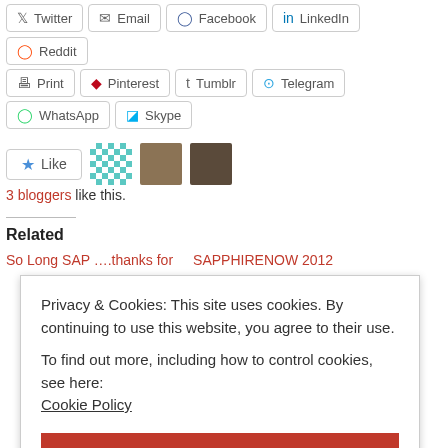Twitter
Email
Facebook
LinkedIn
Reddit
Print
Pinterest
Tumblr
Telegram
WhatsApp
Skype
3 bloggers like this.
Related
So Long SAP ….thanks for
SAPPHIRENOW 2012
Privacy & Cookies: This site uses cookies. By continuing to use this website, you agree to their use.
To find out more, including how to control cookies, see here:
Cookie Policy
Close and accept
In "blogging"